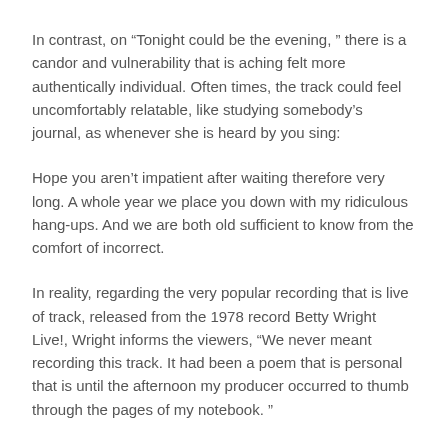In contrast, on “Tonight could be the evening, ” there is a candor and vulnerability that is aching felt more authentically individual. Often times, the track could feel uncomfortably relatable, like studying somebody’s journal, as whenever she is heard by you sing:
Hope you aren’t impatient after waiting therefore very long. A whole year we place you down with my ridiculous hang-ups. And we are both old sufficient to know from the comfort of incorrect.
In reality, regarding the very popular recording that is live of track, released from the 1978 record Betty Wright Live!, Wright informs the viewers, “We never meant recording this track. It had been a poem that is personal that is until the afternoon my producer occurred to thumb through the pages of my notebook. ”